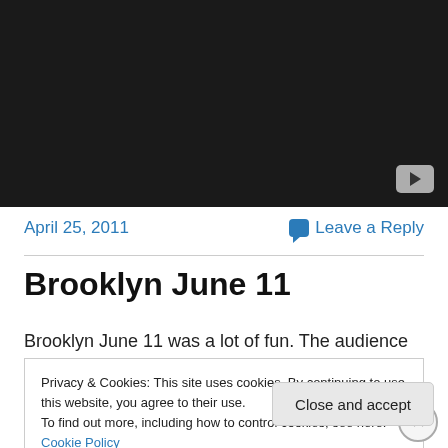[Figure (screenshot): Dark video thumbnail with YouTube play button in bottom-right corner]
April 25, 2011
Leave a Reply
Brooklyn June 11
Brooklyn June 11 was a lot of fun. The audience was
Privacy & Cookies: This site uses cookies. By continuing to use this website, you agree to their use.
To find out more, including how to control cookies, see here: Cookie Policy
Close and accept